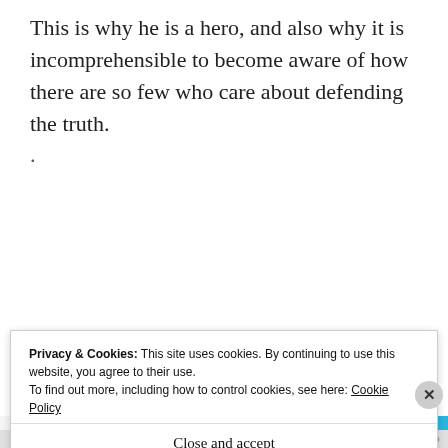This is why he is a hero, and also why it is incomprehensible to become aware of how there are so few who care about defending the truth.
·
★ Like
REPLY
subscriptions online
Privacy & Cookies: This site uses cookies. By continuing to use this website, you agree to their use.
To find out more, including how to control cookies, see here: Cookie Policy
Close and accept